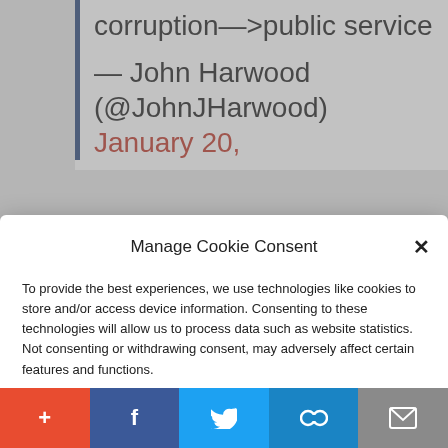corruption—>public service
— John Harwood (@JohnJHarwood) January 20,
Manage Cookie Consent
To provide the best experiences, we use technologies like cookies to store and/or access device information. Consenting to these technologies will allow us to process data such as website statistics. Not consenting or withdrawing consent, may adversely affect certain features and functions.
Accept
Cookie Policy  Privacy Policy
confluence of crises. But there were
+ f Twitter link mail